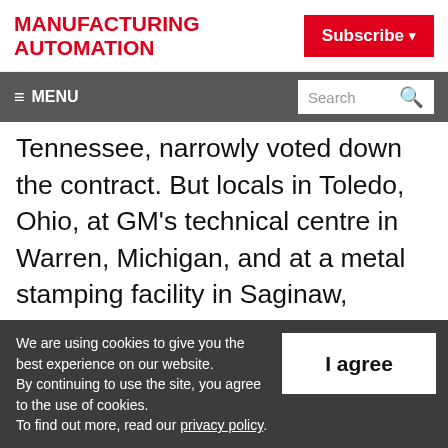MANUFACTURING AUTOMATION
Subscribe
≡ MENU  Search
Tennessee, narrowly voted down the contract. But locals in Toledo, Ohio, at GM's technical centre in Warren, Michigan, and at a metal stamping facility in Saginaw, Michigan, voted overwhelmingly in favour.
Voting wraps up on Friday, with the final tally
We are using cookies to give you the best experience on our website. By continuing to use the site, you agree to the use of cookies. To find out more, read our privacy policy.